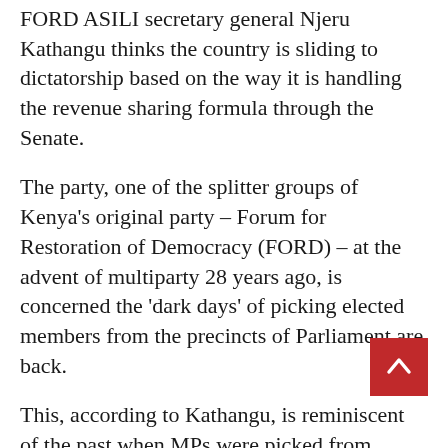FORD ASILI secretary general Njeru Kathangu thinks the country is sliding to dictatorship based on the way it is handling the revenue sharing formula through the Senate.
The party, one of the splitter groups of Kenya's original party – Forum for Restoration of Democracy (FORD) – at the advent of multiparty 28 years ago, is concerned the 'dark days' of picking elected members from the precincts of Parliament are back.
This, according to Kathangu, is reminiscent of the past when MPs were picked from Parliament or from their houses to submit them and intimidate others as it happened to JM Kariuki, Martin Shikuku, Mark Mwithaga, George Anyona and himself in the 70s, 80s and early 90s.
“We, therefore, condemn in the strongest terms